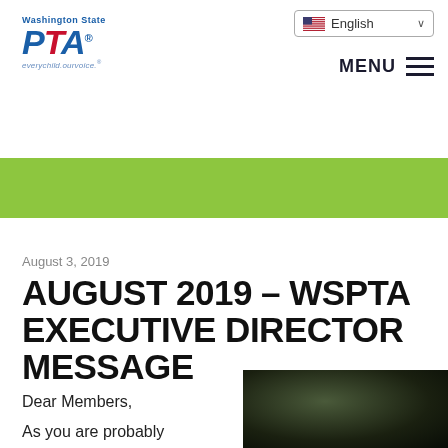Washington State PTA — everychild.ourvoice.
[Figure (logo): Washington State PTA logo with red italic PTA text and tagline 'everychild.ourvoice.']
[Figure (screenshot): Language selector dropdown showing English with US flag and chevron]
[Figure (other): MENU button with hamburger icon (three horizontal lines)]
[Figure (other): Green horizontal banner bar]
August 3, 2019
AUGUST 2019 – WSPTA EXECUTIVE DIRECTOR MESSAGE
Dear Members,
As you are probably
[Figure (photo): Dark outdoor photo, bottom right corner of page]